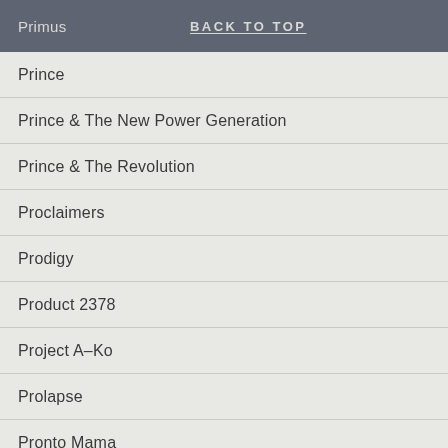Primus | BACK TO TOP
Prince
Prince & The New Power Generation
Prince & The Revolution
Proclaimers
Prodigy
Product 2378
Project A-Ko
Prolapse
Pronto Mama
Propaganda
Psychedelic Furs
Psychic Soviets